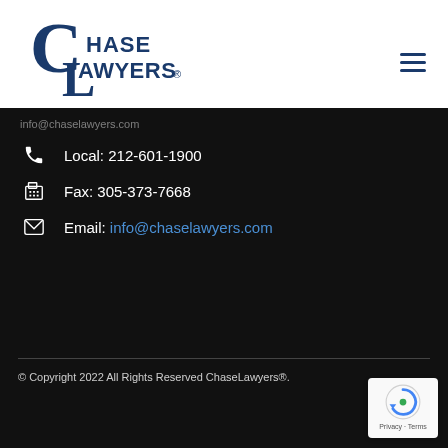[Figure (logo): Chase Lawyers logo with stylized CL monogram in dark blue and the text CHASE LAWYERS with registered trademark symbol]
Local: 212-601-1900
Fax: 305-373-7668
Email: info@chaselawyers.com
© Copyright 2022 All Rights Reserved ChaseLawyers®.